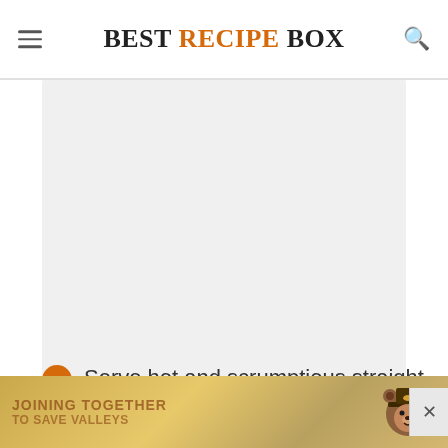BEST RECIPE BOX
[Figure (other): Gray placeholder image area]
5 Serve hot and scrumptious straight up, or for sandwiches, on rice etc…
Nutrition Information: calories: 362kcal, carbohydrates: 4g, protein: 39g, fat: 19g, saturated fat: 2g, cholesterol: 101…g, vita…
[Figure (photo): Advertisement banner with Smokey Bear mascot and text about fire prevention]